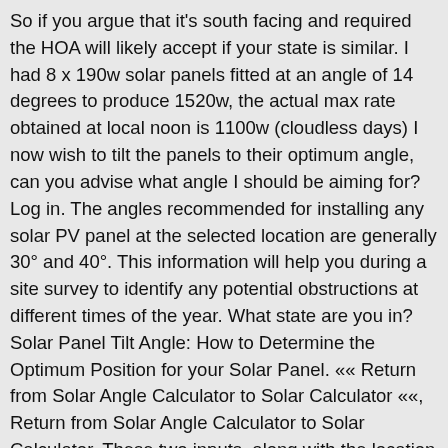So if you argue that it's south facing and required the HOA will likely accept if your state is similar. I had 8 x 190w solar panels fitted at an angle of 14 degrees to produce 1520w, the actual max rate obtained at local noon is 1100w (cloudless days) I now wish to tilt the panels to their optimum angle, can you advise what angle I should be aiming for? Log in. The angles recommended for installing any solar PV panel at the selected location are generally 30° and 40°. This information will help you during a site survey to identify any potential obstructions at different times of the year. What state are you in? Solar Panel Tilt Angle: How to Determine the Optimum Position for your Solar Panel. «« Return from Solar Angle Calculator to Solar Calculator ««, Return from Solar Angle Calculator to Solar Calculator. These two inputs, along with the location of the property, are needed to calculate solar energy at a given site. The angle or tilt of a solar panel is also an important consideration. A general rule for optimal annual energy production is to set the solar panel tilt angle equal to the geographical latitude. Watch fullscreen. Each situation is unique in terms of roof angle, property layout, and power consumption. The angle and